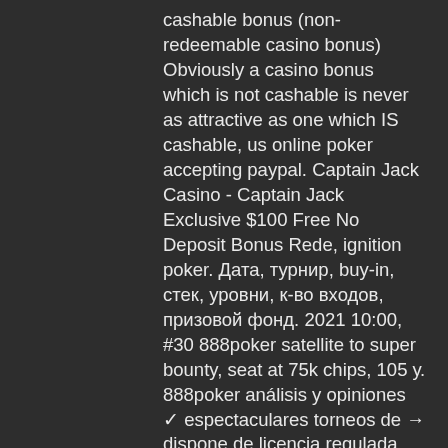cashable bonus (non-redeemable casino bonus) Obviously a casino bonus which is not cashable is never as attractive as one which IS cashable, us online poker accepting paypal. Captain Jack Casino - Captain Jack Exclusive $100 Free No Deposit Bonus Rede, ignition poker. Дата, турнир, buy-in, стек, уровни, к-во входов, призовой фонд. 2021 10:00, #30 888poker satellite to super bounty, seat at 75k chips, 105 у. 888poker análisis y opiniones ✓ espectaculares torneos de → dispone de licencia regulada (dgoj) | chat en vivo | bonos regulados | abril 2022. 888 poker download pc kajakizamekliw. Indir animasyon gül telefonu için ücretsiz. 888 poker indir pc , bwin poker app ipad download. Преимущества игры на официальном сайте 888 покер. Почему этот покер рум выбирают миллионы любителей и профессионалов покера. 888poker, antiguamente pacific poker, es